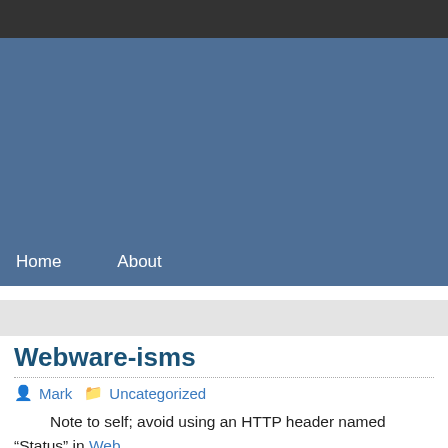Home   About
Webware-isms
Mark  Uncategorized
Note to self; avoid using an HTTP header named “Status” in Web for holding the in-memory equivalent of the response code.
Ack.
What's the best Python Web app framework, or should I just go b